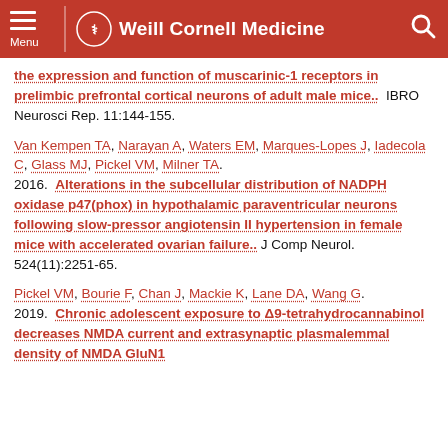Menu | Weill Cornell Medicine
the expression and function of muscarinic-1 receptors in prelimbic prefrontal cortical neurons of adult male mice.. IBRO Neurosci Rep. 11:144-155.
Van Kempen TA, Narayan A, Waters EM, Marques-Lopes J, Iadecola C, Glass MJ, Pickel VM, Milner TA. 2016. Alterations in the subcellular distribution of NADPH oxidase p47(phox) in hypothalamic paraventricular neurons following slow-pressor angiotensin II hypertension in female mice with accelerated ovarian failure.. J Comp Neurol. 524(11):2251-65.
Pickel VM, Bourie F, Chan J, Mackie K, Lane DA, Wang G. 2019. Chronic adolescent exposure to Δ9-tetrahydrocannabinol decreases NMDA current and extrasynaptic plasmalemmal density of NMDA GluN1